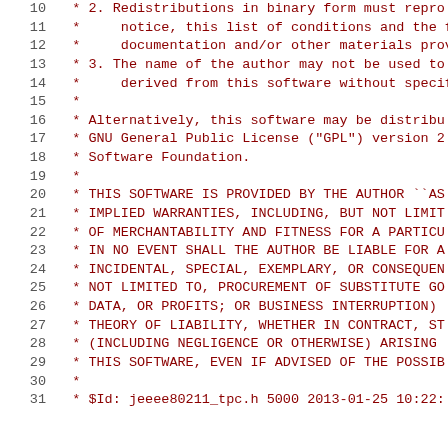Source code listing lines 10-31, license header comment block
10  * 2. Redistributions in binary form must repro
11  *      notice, this list of conditions and the f
12  *      documentation and/or other materials prov
13  * 3. The name of the author may not be used to
14  *      derived from this software without specif
15  *
16  * Alternatively, this software may be distribu
17  * GNU General Public License ("GPL") version 2
18  * Software Foundation.
19  *
20  * THIS SOFTWARE IS PROVIDED BY THE AUTHOR ``AS
21  * IMPLIED WARRANTIES, INCLUDING, BUT NOT LIMIT
22  * OF MERCHANTABILITY AND FITNESS FOR A PARTICU
23  * IN NO EVENT SHALL THE AUTHOR BE LIABLE FOR A
24  * INCIDENTAL, SPECIAL, EXEMPLARY, OR CONSEQUEN
25  * NOT LIMITED TO, PROCUREMENT OF SUBSTITUTE GO
26  * DATA, OR PROFITS; OR BUSINESS INTERRUPTION)
27  * THEORY OF LIABILITY, WHETHER IN CONTRACT, ST
28  * (INCLUDING NEGLIGENCE OR OTHERWISE) ARISING
29  * THIS SOFTWARE, EVEN IF ADVISED OF THE POSSIB
30  *
31  * $Id: jeeee80211_tpc.h 5000 2013-01-25 10:22: